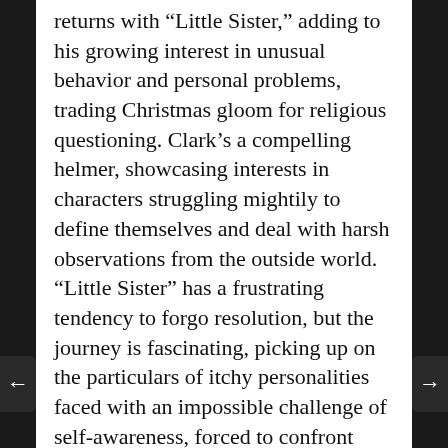returns with "Little Sister," adding to his growing interest in unusual behavior and personal problems, trading Christmas gloom for religious questioning. Clark's a compelling helmer, showcasing interests in characters struggling mightily to define themselves and deal with harsh observations from the outside world. "Little Sister" has a frustrating tendency to forgo resolution, but the journey is fascinating, picking up on the particulars of itchy personalities faced with an impossible challenge of self-awareness, forced to confront questionable decisions and commitments that threaten to take their lives in unwanted directions. Clark doesn't enjoy endings, but he's good with introductions. Read the rest at Blu-ray.com